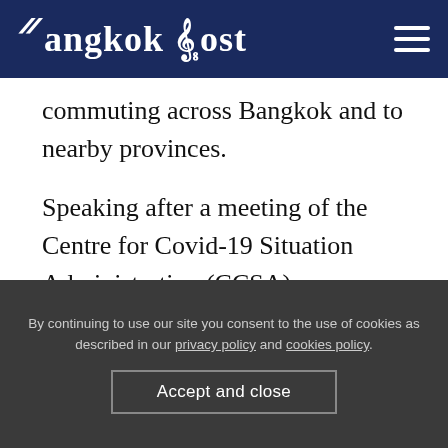Bangkok Post
commuting across Bangkok and to nearby provinces.
Speaking after a meeting of the Centre for Covid-19 Situation Administration (CCSA) on Monday, Bangkok governor Aswin Kwanmuang said Prime Minister Prayut Chan-o-cha had stressed the urgent need to administer vaccine doses to community residents.
By continuing to use our site you consent to the use of cookies as described in our privacy policy and cookies policy.
Accept and close